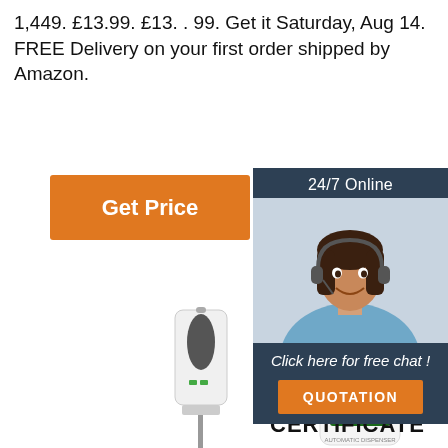1,449. £13.99. £13. . 99. Get it Saturday, Aug 14. FREE Delivery on your first order shipped by Amazon.
[Figure (other): Orange 'Get Price' button]
[Figure (other): 24/7 Online chat box with agent photo and QUOTATION button]
[Figure (other): Product images of automatic hand sanitizer dispensers with thermometer and red beam, showing 36.5 temperature reading]
CERTIFICATE
[Figure (other): TOP badge/seal in orange dotted circle style]